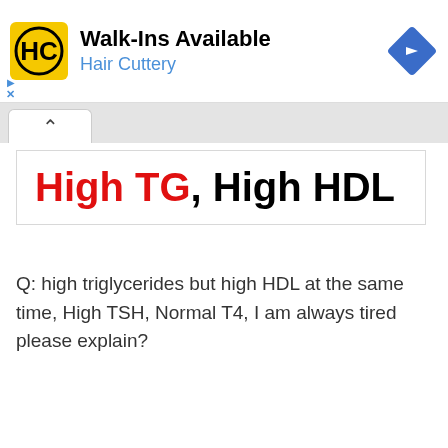[Figure (logo): Hair Cuttery advertisement banner with HC logo, 'Walk-Ins Available' heading, 'Hair Cuttery' subtitle in blue, and a blue navigation arrow icon]
High TG, High HDL
Q: high triglycerides but high HDL at the same time, High TSH, Normal T4, I am always tired please explain?